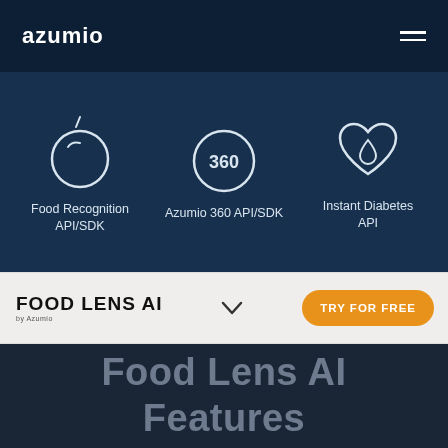azumio
[Figure (illustration): Three icon items on dark blue background: Food Recognition API/SDK (orange icon), Azumio 360 API/SDK (360 circle icon), Instant Diabetes API (heart with drop icon)]
[Figure (logo): FOOD LENS AI by Azumio logo with chevron dropdown and TRY FOR FREE orange button]
Food Lens AI Features
recognition